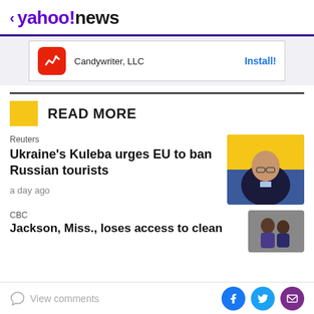< yahoo!news
[Figure (screenshot): Ad banner: Candywriter, LLC app icon with Install! button]
READ MORE
Reuters
Ukraine's Kuleba urges EU to ban Russian tourists
a day ago
[Figure (photo): Photo of a man in glasses with Ukrainian flag in background]
CBC
Jackson, Miss., loses access to clean
View comments  [Facebook] [Twitter] [Email]